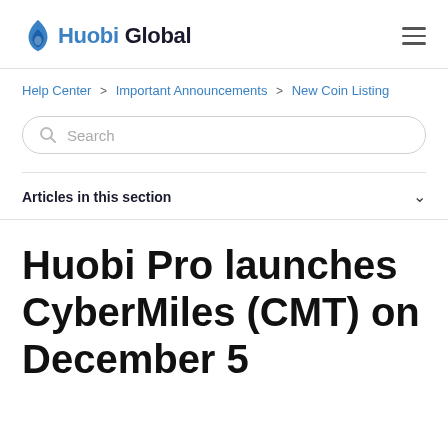Huobi Global
Help Center > Important Announcements > New Coin Listing
Search
Articles in this section
Huobi Pro launches CyberMiles (CMT) on December 5